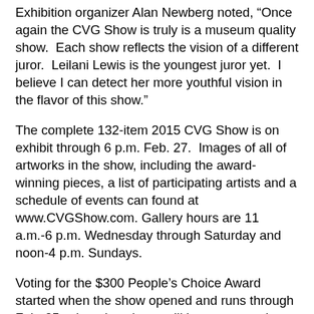Exhibition organizer Alan Newberg noted, “Once again the CVG Show is truly is a museum quality show.  Each show reflects the vision of a different juror.  Leilani Lewis is the youngest juror yet.  I believe I can detect her more youthful vision in the flavor of this show.”
The complete 132-item 2015 CVG Show is on exhibit through 6 p.m. Feb. 27.  Images of all of artworks in the show, including the award-winning pieces, a list of participating artists and a schedule of events can found at www.CVGShow.com. Gallery hours are 11 a.m.-6 p.m. Wednesday through Saturday and noon-4 p.m. Sundays.
Voting for the $300 People’s Choice Award started when the show opened and runs through Feb. 25, when the winner will be announced at the gallery at 7 p.m. The event also will feature a gallery talk by Marie Weichman, Olympic College professor of art.